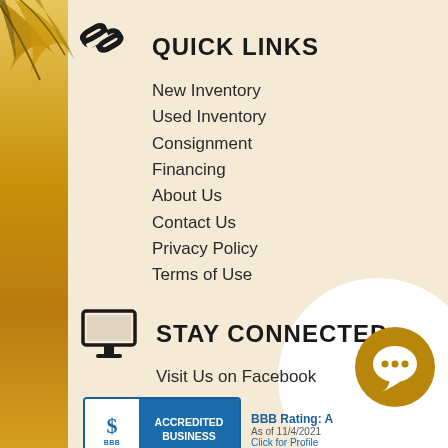[Figure (illustration): Decorative golden/yellow vertical band on left side with palm leaves at top-left corner]
QUICK LINKS
New Inventory
Used Inventory
Consignment
Financing
About Us
Contact Us
Privacy Policy
Terms of Use
STAY CONNECTED
Visit Us on Facebook
[Figure (logo): BBB Accredited Business badge with BBB Rating: A, As of 11/4/2021, Click for Profile]
[Figure (illustration): Golden chat bubble icon in bottom right corner]